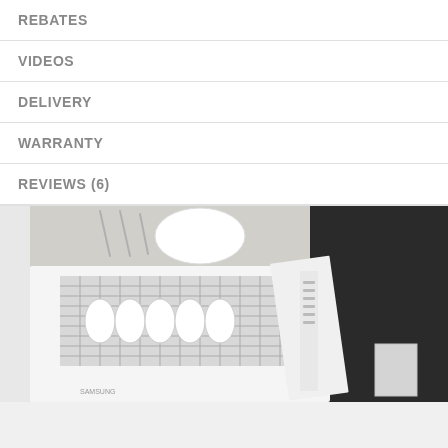REBATES
VIDEOS
DELIVERY
WARRANTY
REVIEWS (6)
[Figure (photo): Open dishwasher showing interior racks loaded with white plates and silverware, with control panel visible on the door edge, small light gray color swatch in bottom right corner]